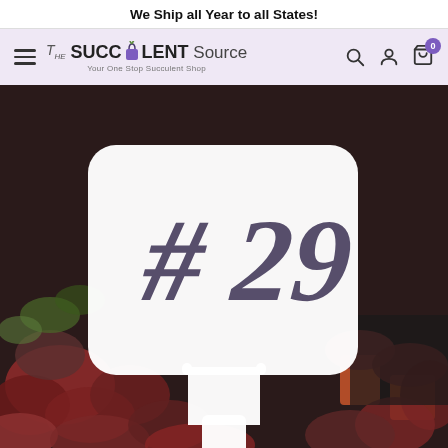We Ship all Year to all States!
[Figure (logo): The Succulent Source logo with hamburger menu, search, account, and cart icons on a light purple navigation bar]
[Figure (photo): A white plant label stake with '#29' written in dark marker, standing in a tray of colorful succulents with red and green foliage]